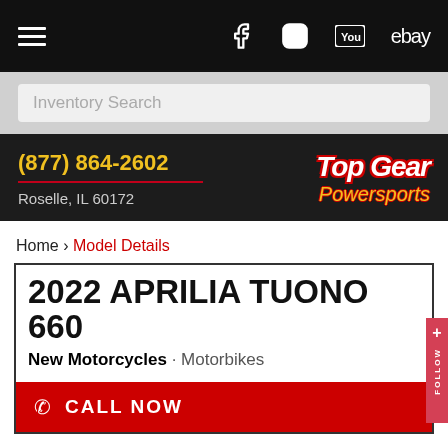Navigation bar with hamburger menu, Facebook, Instagram, YouTube, eBay icons
Inventory Search
(877) 864-2602
Roselle, IL 60172
[Figure (logo): Top Gear Powersports logo in bold italic white text with red outline and yellow script]
Home › Model Details
2022 APRILIA TUONO 660
New Motorcycles · Motorbikes
CALL NOW